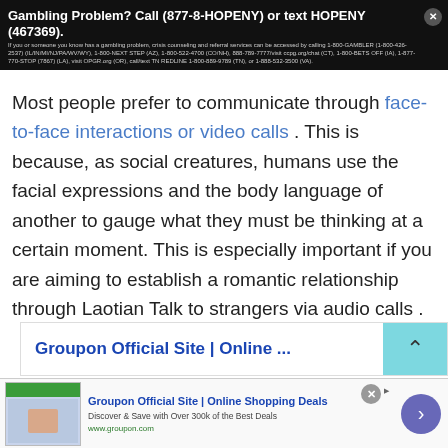Gambling Problem? Call (877-8-HOPENY) or text HOPENY (467369). If you or someone you know has a gambling problem, crisis counseling and referral services can be accessed by calling 1-800-GAMBLER (1-800-426-2537) (IL/IN/MI/NJ/PA/WV/WY), 1-800-NEXT STEP (AZ), 1-800-522-4700 (CO/NH), 888-789-7777/visit ccpg.org/chat (CT), 1-800-BETS OFF (IA), 1-877-770-STOP (7867) (LA), visit OPGR.org (OR), call/text TN REDLINE 1-800-889-9789 (TN), or 1-888-532-3500 (VA).
Most people prefer to communicate through face-to-face interactions or video calls . This is because, as social creatures, humans use the facial expressions and the body language of another to gauge what they must be thinking at a certain moment. This is especially important if you are aiming to establish a romantic relationship through Laotian Talk to strangers via audio calls .
[Figure (screenshot): Groupon advertisement banner showing 'Groupon Official Site | Online ...' with teal arrow section]
[Figure (screenshot): Groupon ad strip at bottom: logo image, 'Groupon Official Site | Online Shopping Deals', 'Discover & Save with Over 300k of the Best Deals', 'www.groupon.com', close button, and circular arrow button]